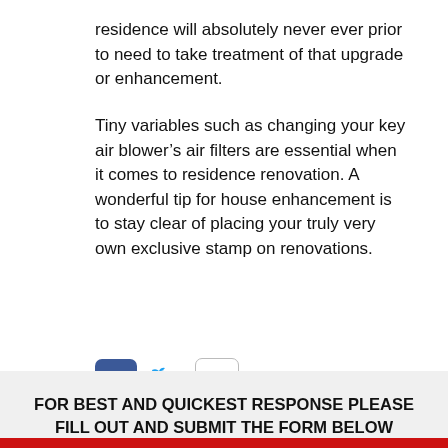residence will absolutely never ever prior to need to take treatment of that upgrade or enhancement.
Tiny variables such as changing your key air blower’s air filters are essential when it comes to residence renovation. A wonderful tip for house enhancement is to stay clear of placing your truly very own exclusive stamp on renovations.
[Figure (other): Social sharing icons: Facebook (blue square with white f), Twitter (blue bird logo), and print icon (printer silhouette)]
FOR BEST AND QUICKEST RESPONSE PLEASE FILL OUT AND SUBMIT THE FORM BELOW